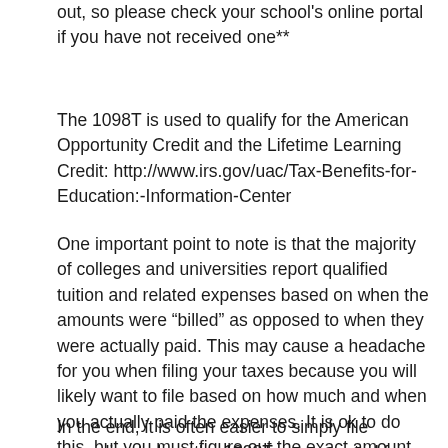out, so please check your school's online portal if you have not received one**
The 1098T is used to qualify for the American Opportunity Credit and the Lifetime Learning Credit: http://www.irs.gov/uac/Tax-Benefits-for-Education:-Information-Center
One important point to note is that the majority of colleges and universities report qualified tuition and related expenses based on when the amounts were “billed” as opposed to when they were actually paid. This may cause a headache for you when filing your taxes because you will likely want to file based on how much and when you actually paid the expenses. It is ok to do this, but you must figure out the exact amount of “qualified” expenses versus non-qualified expenses, and file accordingly.
In the end, it is often easier to simply file according to how the 1098T was reported from your school...